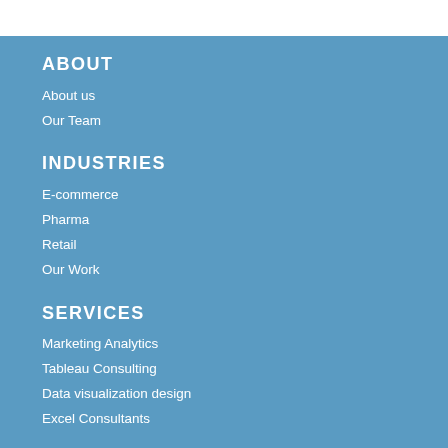ABOUT
About us
Our Team
INDUSTRIES
E-commerce
Pharma
Retail
Our Work
SERVICES
Marketing Analytics
Tableau Consulting
Data visualization design
Excel Consultants
CAREERS